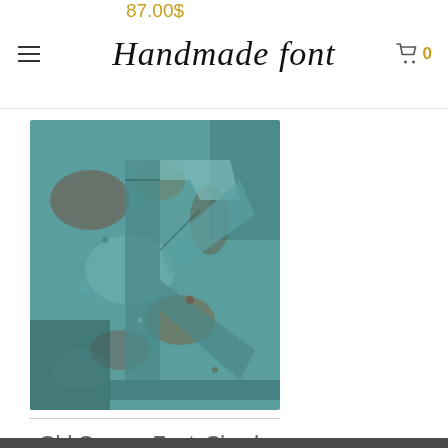Handmade font
[Figure (photo): Close-up photo of a metal letter or sculptural form with patinated copper/teal oxidized texture, showing angular folded metalwork resembling a letter shape.]
Old Copper Font. Simple Handy Typeface
87.00$